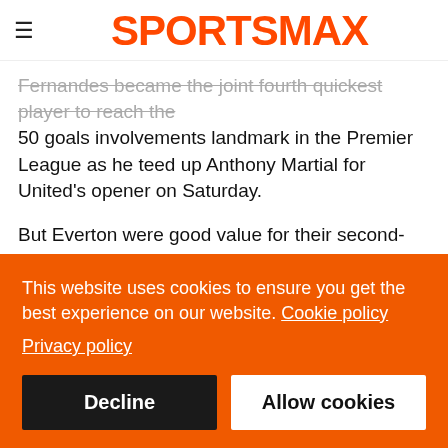SPORTSMAX
Fernandes became the joint fourth quickest player to reach the 50 goals involvements landmark in the Premier League as he teed up Anthony Martial for United's opener on Saturday.
But Everton were good value for their second-half equaliser, as Demarai Gray twice shrugged off Fred before feeding Abdoulaye Doucoure, who then teed up Andros Townsend for a straightforward finish.
United have now won just two of their past seven home league games, while their run of nine successive top-flight matches at
This website uses cookies to ensure you get the best experience on our website. Cookie policy Privacy policy
Decline
Allow cookies